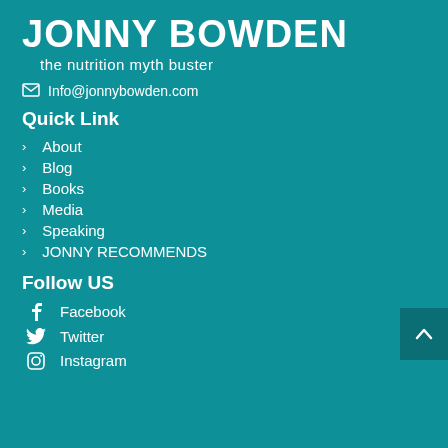JONNY BOWDEN
the nutrition myth buster
Info@jonnybowden.com
Quick Link
About
Blog
Books
Media
Speaking
JONNY RECOMMENDS
Follow US
Facebook
Twitter
Instagram